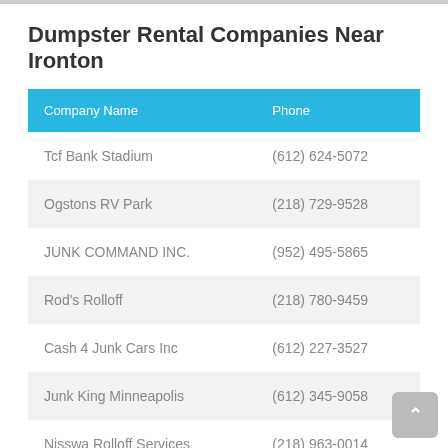Dumpster Rental Companies Near Ironton
| Company Name | Phone |
| --- | --- |
| Tcf Bank Stadium | (612) 624-5072 |
| Ogstons RV Park | (218) 729-9528 |
| JUNK COMMAND INC. | (952) 495-5865 |
| Rod's Rolloff | (218) 780-9459 |
| Cash 4 Junk Cars Inc | (612) 227-3527 |
| Junk King Minneapolis | (612) 345-9058 |
| Nisswa Rolloff Services | (218) 963-0014 |